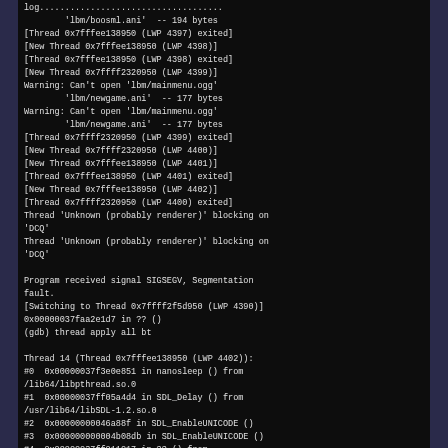[Figure (screenshot): Terminal/GDB debug output showing thread activity, warnings about missing ogg files, a SIGSEGV segmentation fault, and a thread backtrace for Thread 14 including nanosleep, SDL_Delay, SDL_EnableUNICODE, and start_thread calls.]